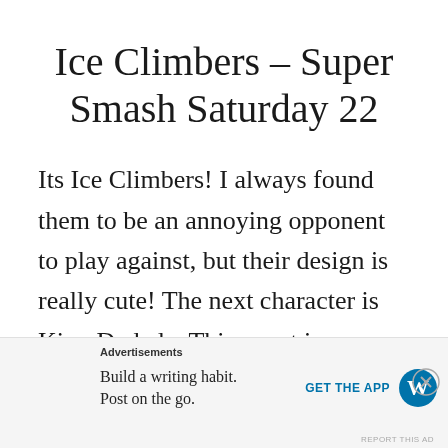Ice Climbers – Super Smash Saturday 22
Its Ice Climbers! I always found them to be an annoying opponent to play against, but their design is really cute! The next character is King Dedede. This event is a
[Figure (other): Advertisement banner at bottom of page: 'Advertisements' label, text 'Build a writing habit. Post on the go.' with 'GET THE APP' call to action and WordPress logo. Close (X) button in top right corner.]